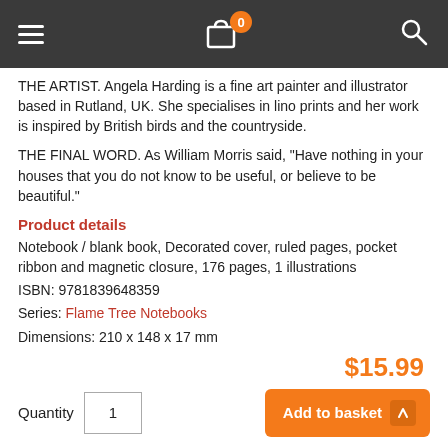Menu | Cart (0) | Search
THE ARTIST. Angela Harding is a fine art painter and illustrator based in Rutland, UK. She specialises in lino prints and her work is inspired by British birds and the countryside.
THE FINAL WORD. As William Morris said, "Have nothing in your houses that you do not know to be useful, or believe to be beautiful."
Product details
Notebook / blank book, Decorated cover, ruled pages, pocket ribbon and magnetic closure, 176 pages, 1 illustrations
ISBN: 9781839648359
Series: Flame Tree Notebooks
Dimensions: 210 x 148 x 17 mm
$15.99
Quantity 1
Add to basket